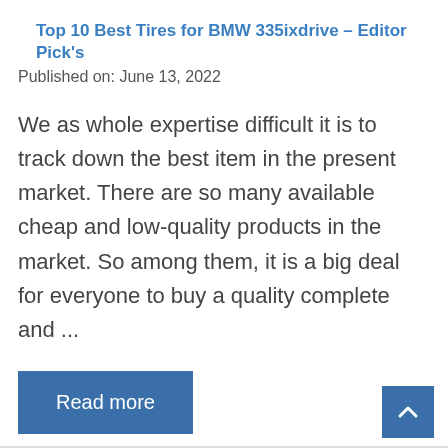Top 10 Best Tires for BMW 335ixdrive – Editor Pick's
Published on: June 13, 2022
We as whole expertise difficult it is to track down the best item in the present market. There are so many available cheap and low-quality products in the market. So among them, it is a big deal for everyone to buy a quality complete and ...
Read more